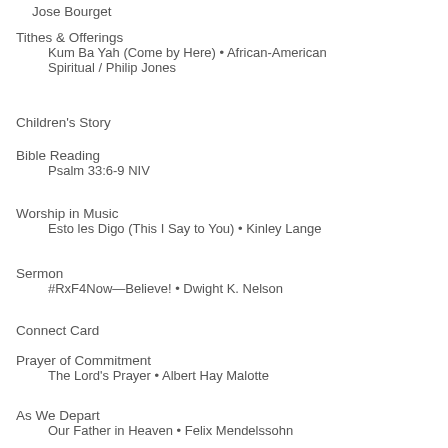Jose Bourget
Tithes & Offerings
Kum Ba Yah (Come by Here) • African-American Spiritual / Philip Jones
Children's Story
Bible Reading
Psalm 33:6-9 NIV
Worship in Music
Esto les Digo (This I Say to You) • Kinley Lange
Sermon
#RxF4Now—Believe! • Dwight K. Nelson
Connect Card
Prayer of Commitment
The Lord's Prayer • Albert Hay Malotte
As We Depart
Our Father in Heaven • Felix Mendelssohn